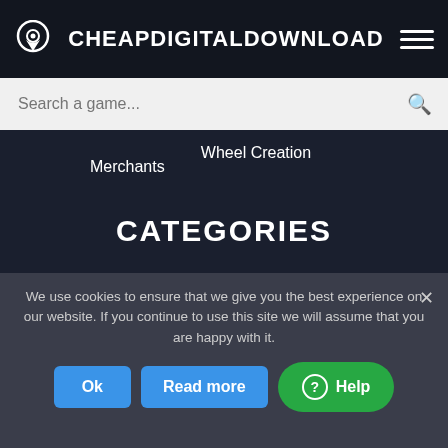CHEAPDIGITALDOWNLOAD
Search a game...
Wheel Creation
Merchants
CATEGORIES
PC
Reward Program
Xbox
Gift Cards
Deals / Free
Playstation
Store Reviews
We use cookies to ensure that we give you the best experience on our website. If you continue to use this site we will assume that you are happy with it.
Ok
Read more
Help